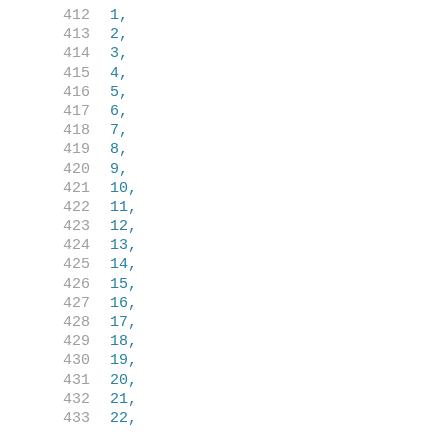| line | value |
| --- | --- |
| 412 | 1, |
| 413 | 2, |
| 414 | 3, |
| 415 | 4, |
| 416 | 5, |
| 417 | 6, |
| 418 | 7, |
| 419 | 8, |
| 420 | 9, |
| 421 | 10, |
| 422 | 11, |
| 423 | 12, |
| 424 | 13, |
| 425 | 14, |
| 426 | 15, |
| 427 | 16, |
| 428 | 17, |
| 429 | 18, |
| 430 | 19, |
| 431 | 20, |
| 432 | 21, |
| 433 | 22, |